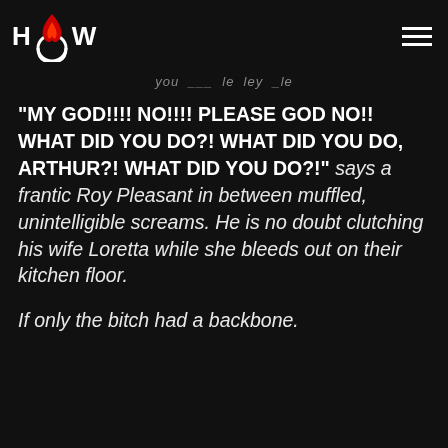HCW (logo with flame)
you ___ le ley _le
“MY GOD!!!! NO!!!! PLEASE GOD NO!! WHAT DID YOU DO?! WHAT DID YOU DO, ARTHUR?! WHAT DID YOU DO?!” says a frantic Roy Pleasant in between muffled, unintelligible screams. He is no doubt clutching his wife Loretta while she bleeds out on their kitchen floor.
If only the bitch had a backbone.